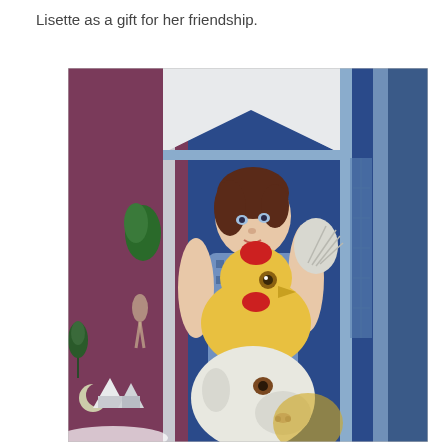Lisette as a gift for her friendship.
[Figure (illustration): A painting in the style of Marc Chagall depicting a woman standing at an open blue window, holding a yellow rooster and embracing a white goat. The background shows a blue-toned room and a snowy village scene visible through the open window on the left side.]